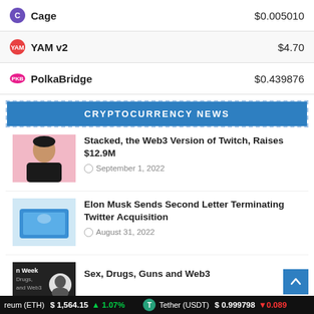| Coin | Price |
| --- | --- |
| Cage | $0.005010 |
| YAM v2 | $4.70 |
| PolkaBridge | $0.439876 |
CRYPTOCURRENCY NEWS
[Figure (photo): Portrait photo of a young Asian man smiling against pink background]
Stacked, the Web3 Version of Twitch, Raises $12.9M
September 1, 2022
[Figure (photo): Photo of a blue smartphone/tablet on a surface]
Elon Musk Sends Second Letter Terminating Twitter Acquisition
August 31, 2022
[Figure (photo): Partial book or magazine cover showing 'In Week', 'Drugs,', 'and Web3']
Sex, Drugs, Guns and Web3
reum (ETH) $1,564.15 ↑1.07%   Tether (USDT) $0.999798 ↓0.089